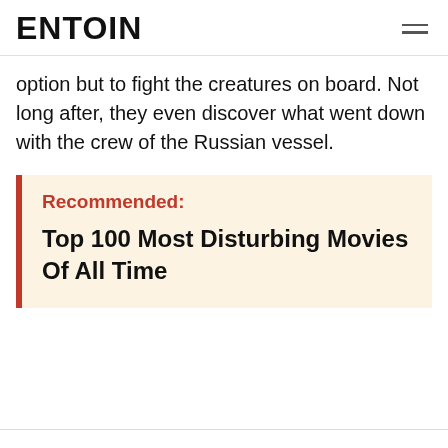ENTOIN
option but to fight the creatures on board. Not long after, they even discover what went down with the crew of the Russian vessel.
Recommended: Top 100 Most Disturbing Movies Of All Time